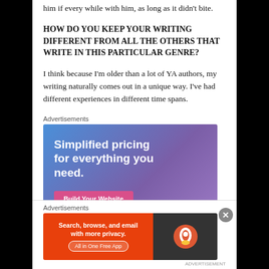him if every while with him, as long as it didn't bite.
HOW DO YOU KEEP YOUR WRITING DIFFERENT FROM ALL THE OTHERS THAT WRITE IN THIS PARTICULAR GENRE?
I think because I'm older than a lot of YA authors, my writing naturally comes out in a unique way. I've had different experiences in different time spans.
Advertisements
[Figure (infographic): Advertisement banner for website builder: 'Simplified pricing for everything you need.' with a 'Build Your Website' button on a blue-to-purple gradient background]
Advertisements
[Figure (infographic): DuckDuckGo advertisement: 'Search, browse, and email with more privacy. All in One Free App' on orange background with DuckDuckGo logo on dark background]